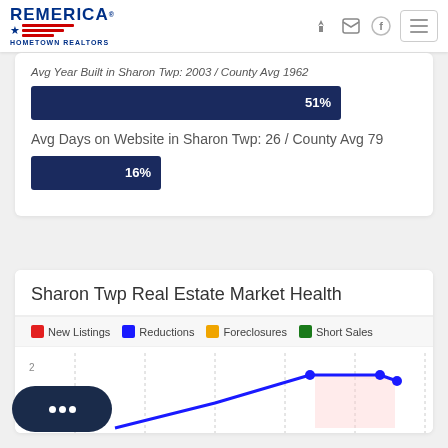[Figure (logo): Remerica Hometown Realtors logo with star and red stripes]
Avg Year Built in Sharon Twp: 2003 / County Avg 1962
[Figure (bar-chart): Avg Year Built comparison]
Avg Days on Website in Sharon Twp: 26 / County Avg 79
[Figure (bar-chart): Avg Days on Website comparison]
Sharon Twp Real Estate Market Health
[Figure (line-chart): Line chart showing New Listings, Reductions, Foreclosures, Short Sales over time. Blue line visible rising to value of 2 then declining.]